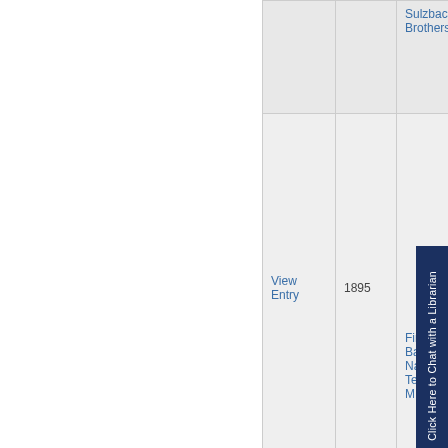| View Entry | Year | Case Name |
| --- | --- | --- |
|  |  | Sulzbacher Brothers |
| View Entry | 1895 | First National Bank of Nashville Tennessee v. J. M. Hill |
[Figure (other): Chat widget overlay with text 'Click Here to Chat with a Librarian' on dark navy background, rotated vertically]